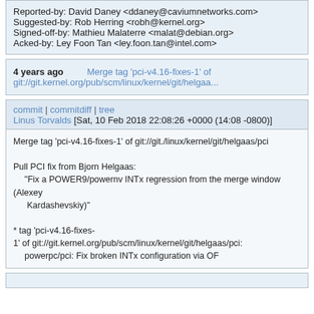Reported-by: David Daney <ddaney@caviumnetworks.com>
Suggested-by: Rob Herring <robh@kernel.org>
Signed-off-by: Mathieu Malaterre <malat@debian.org>
Acked-by: Ley Foon Tan <ley.foon.tan@intel.com>
4 years ago   Merge tag 'pci-v4.16-fixes-1' of git://git.kernel.org/pub/scm/linux/kernel/git/helgaa...
commit | commitdiff | tree
Linus Torvalds [Sat, 10 Feb 2018 22:08:26 +0000 (14:08 -0800)]
Merge tag 'pci-v4.16-fixes-1' of git://git./linux/kernel/git/helgaas/pci

Pull PCI fix from Bjorn Helgaas:
  "Fix a POWER9/powernv INTx regression from the merge window (Alexey Kardashevskiy)"

* tag 'pci-v4.16-fixes-1' of git://git.kernel.org/pub/scm/linux/kernel/git/helgaas/pci:
  powerpc/pci: Fix broken INTx configuration via OF